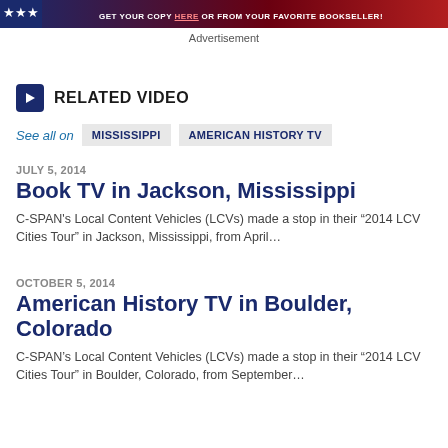[Figure (photo): Advertisement banner with stars and red background reading GET YOUR COPY HERE OR FROM YOUR FAVORITE BOOKSELLER!]
Advertisement
RELATED VIDEO
See all on  MISSISSIPPI  AMERICAN HISTORY TV
JULY 5, 2014
Book TV in Jackson, Mississippi
C-SPAN's Local Content Vehicles (LCVs) made a stop in their “2014 LCV Cities Tour” in Jackson, Mississippi, from April…
OCTOBER 5, 2014
American History TV in Boulder, Colorado
C-SPAN’s Local Content Vehicles (LCVs) made a stop in their “2014 LCV Cities Tour” in Boulder, Colorado, from September…